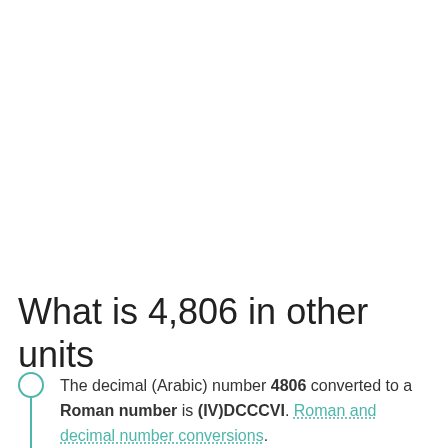What is 4,806 in other units
The decimal (Arabic) number 4806 converted to a Roman number is (IV)DCCCVI. Roman and decimal number conversions.